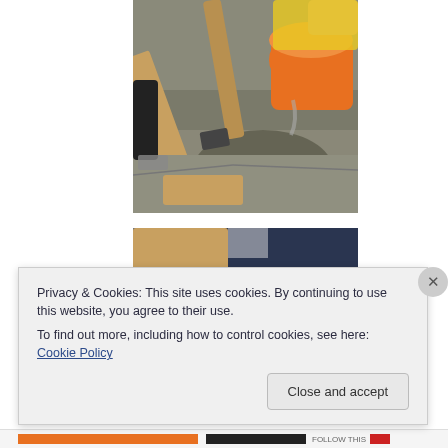[Figure (photo): Construction photo showing tools (wood plank, shovel) and an orange bucket being poured over stone/concrete ground. Hands visible, gravel and construction bag in background.]
[Figure (photo): Construction photo showing a wooden beam or plank and a person in dark clothing visible from waist down.]
Privacy & Cookies: This site uses cookies. By continuing to use this website, you agree to their use.
To find out more, including how to control cookies, see here: Cookie Policy
Close and accept